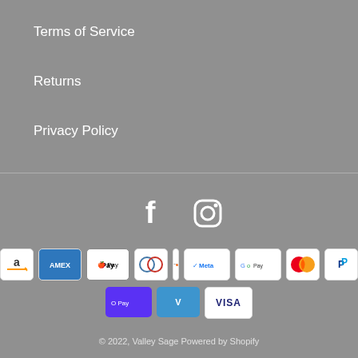Terms of Service
Returns
Privacy Policy
[Figure (infographic): Social media icons: Facebook and Instagram]
[Figure (infographic): Payment method badges: Amazon Pay, Amex, Apple Pay, Diners Club, Discover, Meta Pay, Google Pay, Mastercard, PayPal, Shop Pay, Venmo, Visa]
© 2022, Valley Sage Powered by Shopify